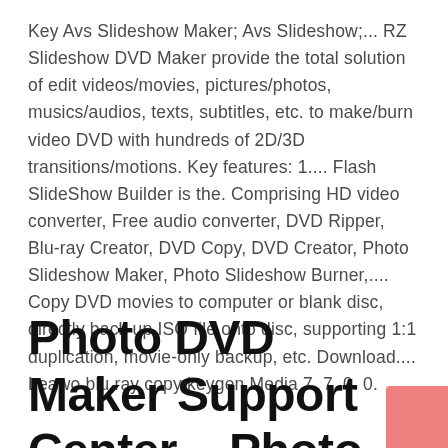Key Avs Slideshow Maker; Avs Slideshow;... RZ Slideshow DVD Maker provide the total solution of edit videos/movies, pictures/photos, musics/audios, texts, subtitles, etc. to make/burn video DVD with hundreds of 2D/3D transitions/motions. Key features: 1.... Flash SlideShow Builder is the. Comprising HD video converter, Free audio converter, DVD Ripper, Blu-ray Creator, DVD Copy, DVD Creator, Photo Slideshow Maker, Photo Slideshow Burner,.... Copy DVD movies to computer or blank disc, directly back up ISO file onto disc, supporting 1:1 duplication, movie-only backup, etc. Download.... Leawo blu ray copy keygen Media 7. 7. 0. 0.
Photo DVD Maker Support Center – Photo DVD Maker – create